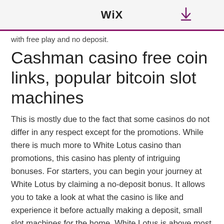WiX
receive a $10 no deposit bonus, casino with free play and no deposit.
Cashman casino free coin links, popular bitcoin slot machines
This is mostly due to the fact that some casinos do not differ in any respect except for the promotions. While there is much more to White Lotus casino than promotions, this casino has plenty of intriguing bonuses. For starters, you can begin your journey at White Lotus by claiming a no-deposit bonus. It allows you to take a look at what the casino is like and experience it before actually making a deposit, small slot machines for the home. White Lotus is above most other casinos when it comes to this kind of bonuses. They can also get $25 f, small slot